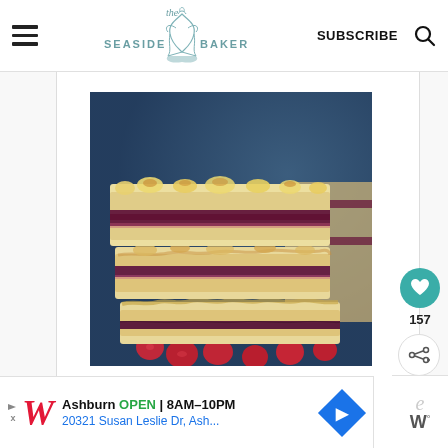The Seaside Baker — SUBSCRIBE
[Figure (photo): Stack of cranberry or blueberry bar cookies/pastry squares with crumble topping and dark berry jam filling, arranged on a dark blue background with fresh cranberries scattered around.]
157
Ashburn OPEN 8AM–10PM 20321 Susan Leslie Dr, Ash...